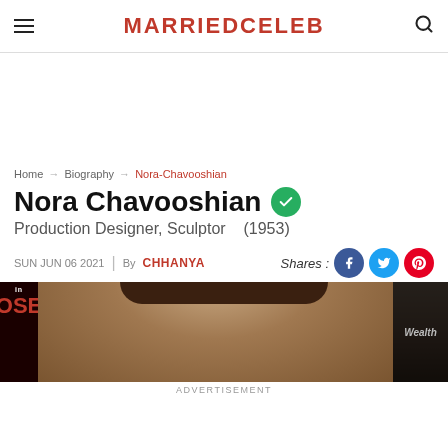MARRIEDCELEB
Home → Biography → Nora-Chavooshian
Nora Chavooshian
Production Designer, Sculptor   (1953)
SUN JUN 06 2021  |  By CHHANYA
[Figure (photo): Photo of Nora Chavooshian, partial face visible with dark hair, background shows text overlays including show/movie branding]
ADVERTISEMENT